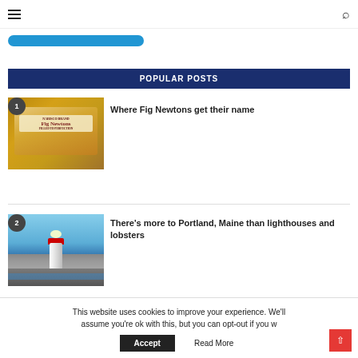≡ [hamburger menu] [search icon]
[Figure (screenshot): Blue rounded button/bar partially visible at top]
POPULAR POSTS
[Figure (photo): Photo of Fig Newtons cookie box — brown/tan packaging with 'Fig Newtons' text]
Where Fig Newtons get their name
[Figure (photo): Photo of Portland, Maine lighthouse on rocky coast against blue sky]
There's more to Portland, Maine than lighthouses and lobsters
This website uses cookies to improve your experience. We'll assume you're ok with this, but you can opt-out if you w
Accept   Read More